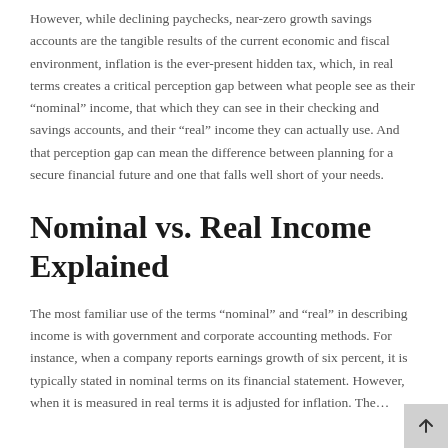However, while declining paychecks, near-zero growth savings accounts are the tangible results of the current economic and fiscal environment, inflation is the ever-present hidden tax, which, in real terms creates a critical perception gap between what people see as their “nominal” income, that which they can see in their checking and savings accounts, and their “real” income they can actually use. And that perception gap can mean the difference between planning for a secure financial future and one that falls well short of your needs.
Nominal vs. Real Income Explained
The most familiar use of the terms “nominal” and “real” in describing income is with government and corporate accounting methods. For instance, when a company reports earnings growth of six percent, it is typically stated in nominal terms on its financial statement. However, when it is measured in real terms it is adjusted for inflation. The...